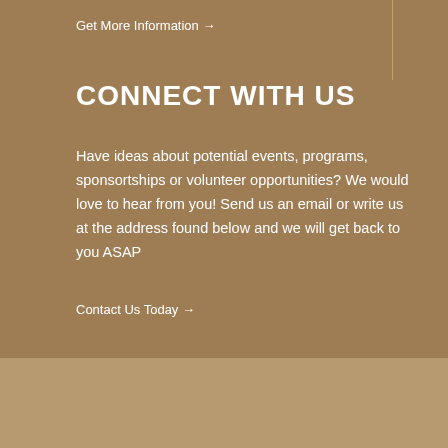Get More Information →
CONNECT WITH US
Have ideas about potential events, programs, sponsortships or volunteer opportunities? We would love to hear from you! Send us an email or write us at the address found below and we will get back to you ASAP
Contact Us Today →
© 2016 Brown Club of DC - Proudly affiliated with the Brown University Alumni Association
Back to Top